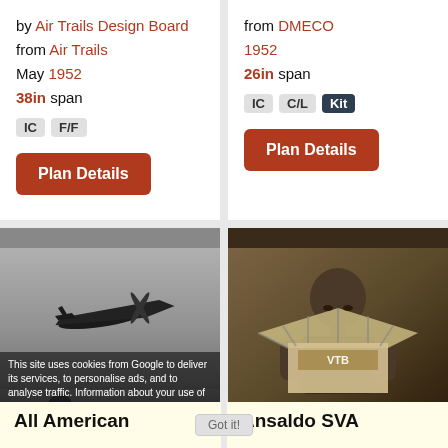by Air Trails Design Board
from Air Trails
May 1952
38in span
IC F/F
Plan Details
from DMECO
1952
26in span
IC C/L Kit
Plan Details
[Figure (photo): Black and white photo of a model airplane in flight, with a person visible below]
[Figure (photo): Sepia/dark photo of a young boy holding and looking at a large model airplane kit box]
All American
Ansaldo SVA
This site uses cookies from Google to deliver its services, to personalise ads, and to analyse traffic. Information about your use of this site is shared with Google. By using this site, you agree to its use of cookies. Learn more
Got it!